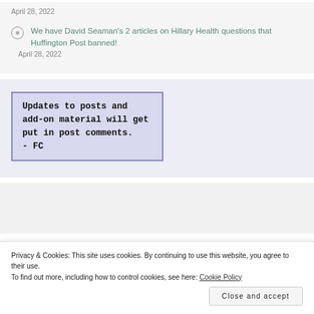April 28, 2022
We have David Seaman's 2 articles on Hillary Health questions that Huffington Post banned!
April 28, 2022
[Figure (infographic): Blue-purple bordered notice box with text: Updates to posts and add-on material will get put in post comments. - FC]
Privacy & Cookies: This site uses cookies. By continuing to use this website, you agree to their use. To find out more, including how to control cookies, see here: Cookie Policy
Close and accept